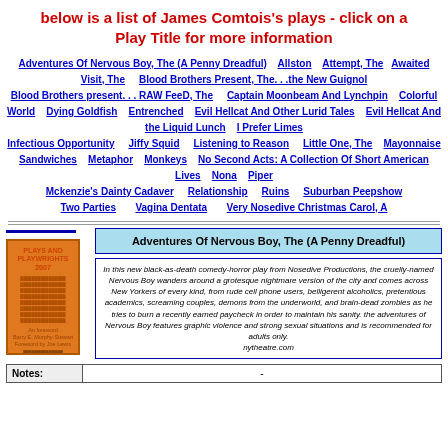below is a list of James Comtois's plays - click on a Play Title for more information
Adventures Of Nervous Boy, The (A Penny Dreadful)  Allston  Attempt, The  Awaited Visit, The  Blood Brothers Present, The. . .the New Guignol  Blood Brothers present. . . RAW FeeD, The  Captain Moonbeam And Lynchpin  Colorful World  Dying Goldfish  Entrenched  Evil Hellcat And Other Lurid Tales  Evil Hellcat And the Liquid Lunch  I Prefer Limes  Infectious Opportunity  Jiffy Squid  Listening to Reason  Little One, The  Mayonnaise Sandwiches  Metaphor  Monkeys  No Second Acts: A Collection Of Short American Lives  Nona  Piper  Mckenzie's Dainty Cadaver  Relationship  Ruins  Suburban Peepshow  Two Parties  Vagina Dentata  Very Nosedive Christmas Carol, A
Adventures Of Nervous Boy, The (A Penny Dreadful)
[Figure (photo): Book cover image - orange/amber colored book titled Plays and Playwrights 2007]
In this new black-as-death comedy-horror play from Nosedive Productions, the cruelly-named Nervous Boy wanders around a grotesque nightmare version of the city and comes across New Yorkers of every kind, from rude cell phone users, belligerent alcoholics, pretentious academics, screaming couples, demons from the underworld, and brain-dead zombies as he tries to burn a recently earned paycheck in order to maintain his sanity. the adventures of Nervous Boy features graphic violence and strong sexual situations and is recommended for adults only. nytheatre.com
| Notes: | - |
| --- | --- |
| - |  |